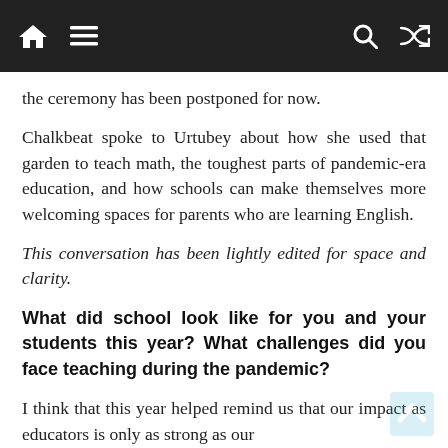[navigation bar with home, menu, search, shuffle icons]
the ceremony has been postponed for now.
Chalkbeat spoke to Urtubey about how she used that garden to teach math, the toughest parts of pandemic-era education, and how schools can make themselves more welcoming spaces for parents who are learning English.
This conversation has been lightly edited for space and clarity.
What did school look like for you and your students this year? What challenges did you face teaching during the pandemic?
I think that this year helped remind us that our impact as educators is only as strong as our